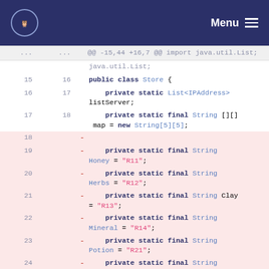Menu
[Figure (screenshot): Code diff view showing Java class Store with removed lines for String constants (Honey, Herbs, Clay, Mineral, Potion, Incense) and kept lines for public class Store, private static List<IPAddress> listServer, private static final String[][] map]
@@ -15,44 +16,7 @@ import java.util.List;
15  16  public class Store {
16  17      private static List<IPAddress> listServer;
17  18      private static final String [][] map = new String[5][5];
18  - (removed blank line)
19  -     private static final String Honey = "R11";
20  -     private static final String Herbs = "R12";
21  -     private static final String Clay = "R13";
22  -     private static final String Mineral = "R14";
23  -     private static final String Potion = "R21";
24  -     private static final String Incense = "R22";